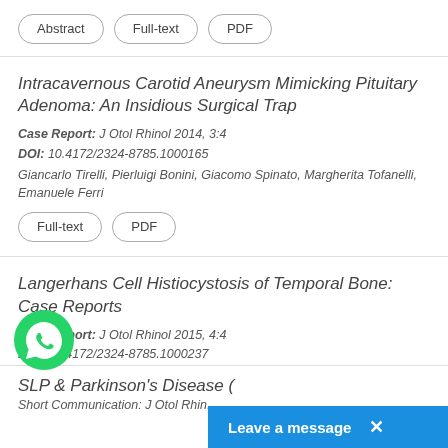Abstract | Full-text | PDF
Intracavernous Carotid Aneurysm Mimicking Pituitary Adenoma: An Insidious Surgical Trap
Case Report: J Otol Rhinol 2014, 3:4
DOI: 10.4172/2324-8785.1000165
Giancarlo Tirelli, Pierluigi Bonini, Giacomo Spinato, Margherita Tofanelli, Emanuele Ferri
Full-text | PDF
Langerhans Cell Histiocystosis of Temporal Bone: Case Reports
Case Report: J Otol Rhinol 2015, 4:4
DOI: 10.4172/2324-8785.1000237
Mehmet Akif Aksoy, Armagan Incesulu, Ercan Kaya, M Kezban Gurbuz, Hamdi Cakli
Abstract | Full-text | PDF
SLP & Parkinson's Disease (
Short Communication: J Otol Rhin...